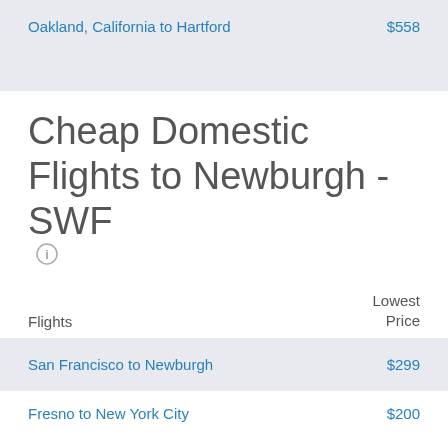Oakland, California to Hartford  $558
Cheap Domestic Flights to Newburgh - SWF
| Flights | Lowest Price |
| --- | --- |
| San Francisco to Newburgh | $299 |
| Fresno to New York City | $200 |